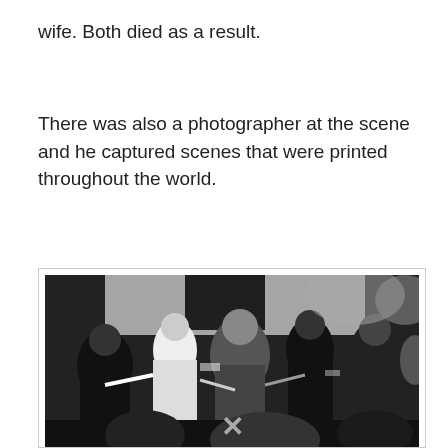wife. Both died as a result.
There was also a photographer at the scene and he captured scenes that were printed throughout the world.
[Figure (photo): Historical black and white photograph showing Princip being apprehended, second on the right, under arrest after the assassination. Several figures in military and civilian dress visible.]
Princip, second on the right, under media.